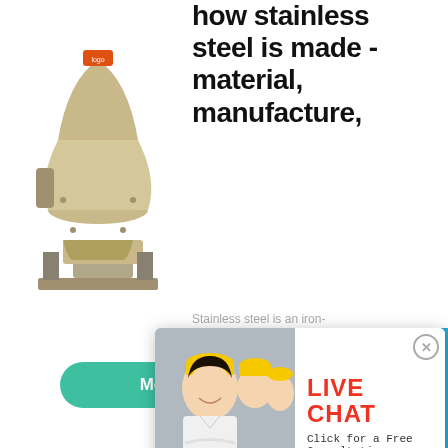how stainless steel is made - material, manufacture,
[Figure (photo): Industrial cone crusher machine, beige/cream colored, photographed against white background]
Stainless steel is an iron- resistance to stain o its chromium conte 12 to 20 percent of t
More
[Figure (photo): Live chat popup overlay showing a smiling young woman in white shirt and yellow hard hat with colleagues in background, with LIVE CHAT heading in red, subtitle 'Click for a Free Consultation', Chat now (red) and Chat later (dark) buttons]
hour online
[Figure (photo): Industrial cone crusher machine on blue background in right sidebar]
Click me to chat>>
Enquiry
ayywaitml@gmail...